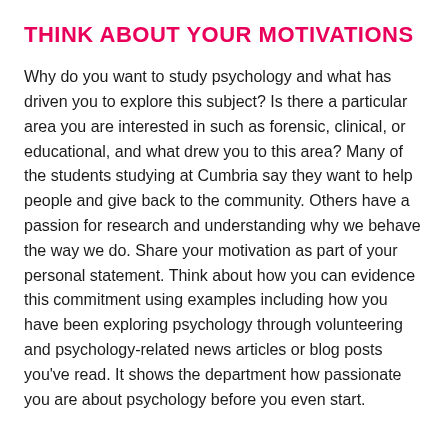THINK ABOUT YOUR MOTIVATIONS
Why do you want to study psychology and what has driven you to explore this subject? Is there a particular area you are interested in such as forensic, clinical, or educational, and what drew you to this area? Many of the students studying at Cumbria say they want to help people and give back to the community. Others have a passion for research and understanding why we behave the way we do. Share your motivation as part of your personal statement. Think about how you can evidence this commitment using examples including how you have been exploring psychology through volunteering and psychology-related news articles or blog posts you've read. It shows the department how passionate you are about psychology before you even start.